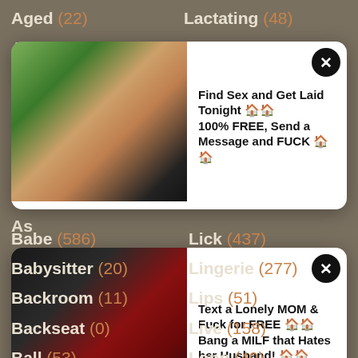Aged (22)
Lactating (48)
Anal (2633)
Latex (43)
[Figure (other): Ad popup card 1 with photo of woman and text: Find Sex and Get Laid Tonight. 100% FREE, Send a Message and FUCK]
[Figure (other): Ad popup card 2 with photo of woman and text: Text a Lonely MOM & Fuck for FREE. Bang a MILF that Hates her Husband!]
Babe (586)
Lick (437)
Babysitter (20)
Lingerie (277)
Backroom (11)
Lips (51)
Backseat (0)
Live (158)
Ball (53)
Long (49)
Banging (17)
Machine (48)
Bar (234)
Maid (63)
Bareback (120)
Maledom (4)